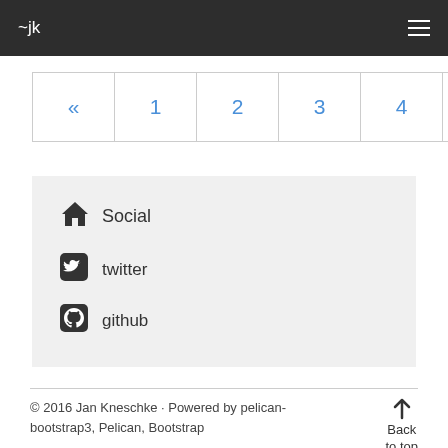~jk
« 1 2 3 4 5 6 7 »
Social
twitter
github
© 2016 Jan Kneschke · Powered by pelican-bootstrap3, Pelican, Bootstrap